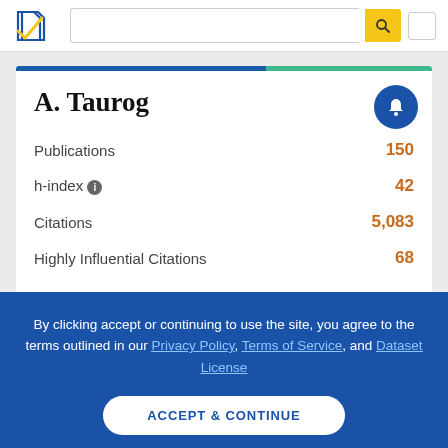Semantic Scholar search bar header
A. Taurog
| Metric | Value |
| --- | --- |
| Publications | 150 |
| h-index | 42 |
| Citations | 5,083 |
| Highly Influential Citations | 68 |
By clicking accept or continuing to use the site, you agree to the terms outlined in our Privacy Policy, Terms of Service, and Dataset License
ACCEPT & CONTINUE